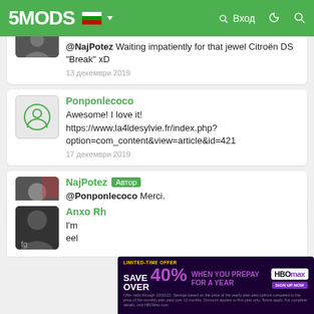5MODS — Вход
@NajPotez Waiting impatiently for that jewel Citroën DS "Break" xD
13 декември 2019
Ponponlecoco
Awesome! I love it!
https://www.la4ldesylvie.fr/index.php?option=com_content&view=article&id=421
17 декември 2019
NajPotez [Автор]
@Ponponlecoco Merci.
20 декември 2019
Anxo Rh
I'm [...]eel
[Figure (screenshot): HBO Max advertisement banner: LIMITED-TIME OFFER SAVE OVER 40% WHEN YOU PREPAY FOR A YEAR with HBO Max sign up now button. Fine print below.]